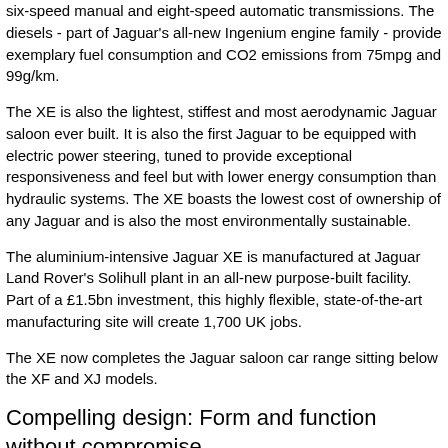six-speed manual and eight-speed automatic transmissions. The diesels - part of Jaguar's all-new Ingenium engine family - provide exemplary fuel consumption and CO2 emissions from 75mpg and 99g/km.
The XE is also the lightest, stiffest and most aerodynamic Jaguar saloon ever built. It is also the first Jaguar to be equipped with electric power steering, tuned to provide exceptional responsiveness and feel but with lower energy consumption than hydraulic systems. The XE boasts the lowest cost of ownership of any Jaguar and is also the most environmentally sustainable.
The aluminium-intensive Jaguar XE is manufactured at Jaguar Land Rover's Solihull plant in an all-new purpose-built facility. Part of a £1.5bn investment, this highly flexible, state-of-the-art manufacturing site will create 1,700 UK jobs.
The XE now completes the Jaguar saloon car range sitting below the XF and XJ models.
Compelling design: Form and function without compromise